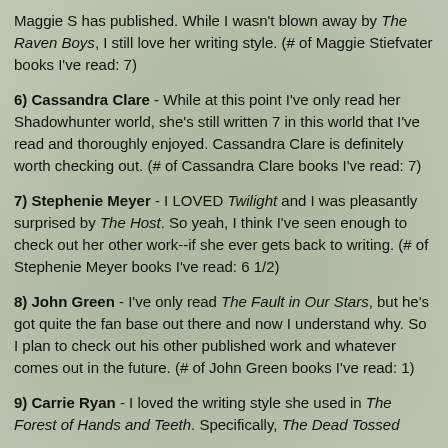Maggie S has published. While I wasn't blown away by The Raven Boys, I still love her writing style. (# of Maggie Stiefvater books I've read: 7)
6) Cassandra Clare - While at this point I've only read her Shadowhunter world, she's still written 7 in this world that I've read and thoroughly enjoyed. Cassandra Clare is definitely worth checking out. (# of Cassandra Clare books I've read: 7)
7) Stephenie Meyer - I LOVED Twilight and I was pleasantly surprised by The Host. So yeah, I think I've seen enough to check out her other work--if she ever gets back to writing. (# of Stephenie Meyer books I've read: 6 1/2)
8) John Green - I've only read The Fault in Our Stars, but he's got quite the fan base out there and now I understand why. So I plan to check out his other published work and whatever comes out in the future. (# of John Green books I've read: 1)
9) Carrie Ryan - I loved the writing style she used in The Forest of Hands and Teeth. Specifically, The Dead Tossed